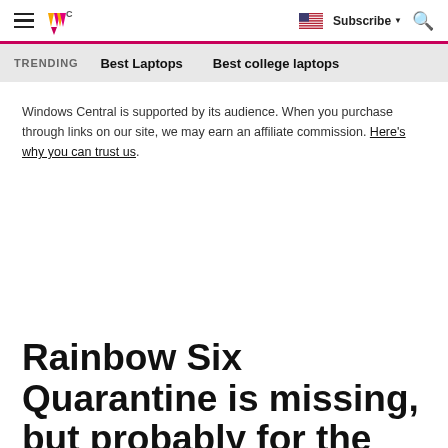Windows Central — hamburger menu, logo, flag, Subscribe, search
TRENDING   Best Laptops   Best college laptops
Windows Central is supported by its audience. When you purchase through links on our site, we may earn an affiliate commission. Here's why you can trust us.
Rainbow Six Quarantine is missing, but probably for the best